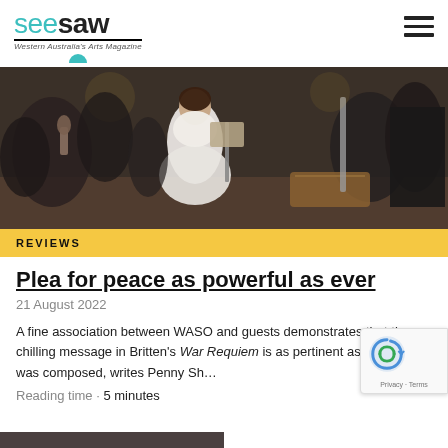seesaw - Western Australia's Arts Magazine
[Figure (photo): Orchestra performance photo: a woman in a white dress singing in front of a music stand, surrounded by orchestra musicians in black suits playing strings, with wooden stage elements visible]
REVIEWS
Plea for peace as powerful as ever
21 August 2022
A fine association between WASO and guests demonstrates that the chilling message in Britten's War Requiem is as pertinent as when it was composed, writes Penny Sh…
Reading time • 5 minutes